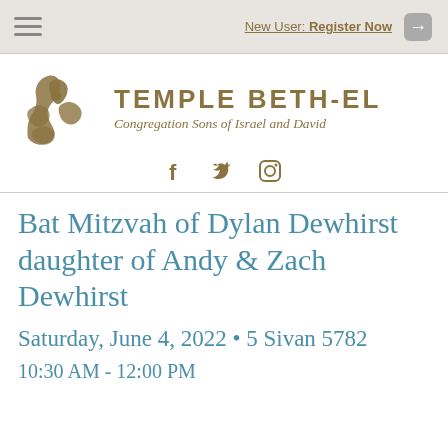New User: Register Now
[Figure (logo): Temple Beth-El logo with Hebrew calligraphic symbol, text TEMPLE BETH-EL, Congregation Sons of Israel and David, and social media icons (Facebook, Twitter, Instagram)]
Bat Mitzvah of Dylan Dewhirst daughter of Andy & Zach Dewhirst
Saturday, June 4, 2022 • 5 Sivan 5782
10:30 AM - 12:00 PM